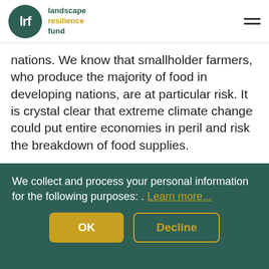lrf landscape resilience fund
nations. We know that smallholder farmers, who produce the majority of food in developing nations, are at particular risk.  It is crystal clear that extreme climate change could put entire economies in peril and risk the breakdown of food supplies.
Solutions to bolster future food security are highlighted in the latest report. The IPCC report states, “Agroecological principles and practices.... and approaches that work with natural processes support food security, nutrition, health and well-being, livelihoods and biodiversity, sustainability and
We collect and process your personal information for the following purposes: . Learn more...